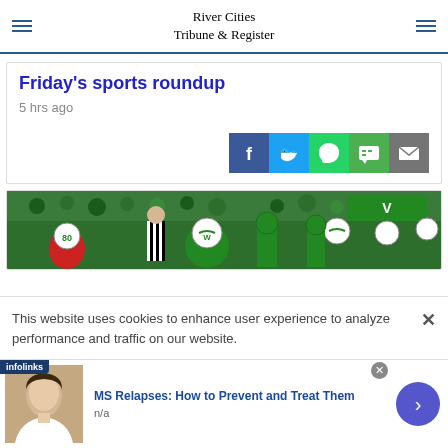River Cities Tribune & Register
Friday's sports roundup
5 hrs ago
[Figure (other): Social share buttons: Facebook, Twitter, WhatsApp, Chat, Email]
[Figure (photo): Football players in green uniforms and helmets on field with referees and crowd]
This website uses cookies to enhance user experience to analyze performance and traffic on our website.
[Figure (other): Infolinks advertisement bar with woman photo and MS Relapses ad]
MS Relapses: How to Prevent and Treat Them
n/a